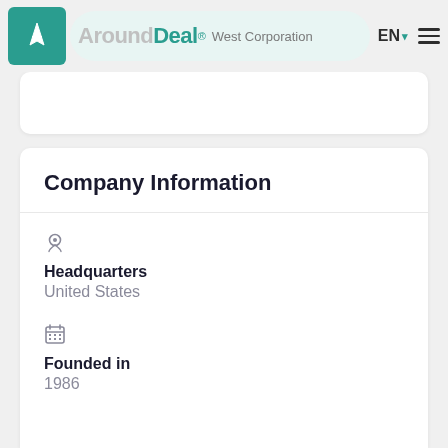AroundDeal® West Corporation EN
Company Information
Headquarters
United States
Founded in
1986